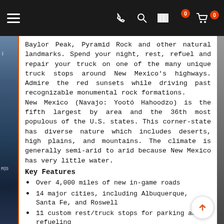Navigation bar with hamburger menu, phone, search, barcode, cart icons
Baylor Peak, Pyramid Rock and other natural landmarks. Spend your night, rest, refuel and repair your truck on one of the many unique truck stops around New Mexico's highways. Admire the red sunsets while driving past recognizable monumental rock formations.
New Mexico (Navajo: Yootó Hahoodzo) is the fifth largest by area and the 36th most populous of the U.S. states. This corner-state has diverse nature which includes deserts, high plains, and mountains. The climate is generally semi-arid to arid because New Mexico has very little water.
Key Features
Over 4,000 miles of new in-game roads
14 major cities, including Albuquerque, Santa Fe, and Roswell
11 custom rest/truck stops for parking and refueling
More than 600 completely new 3D graphics assets
Complex and realistic custom-built junctions and Interstate interchanges
8 new company docks and industries